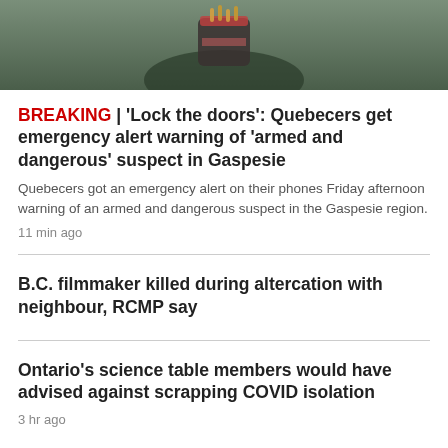[Figure (photo): Photo of hands holding a cup of french fries outdoors, blurred background]
BREAKING | 'Lock the doors': Quebecers get emergency alert warning of 'armed and dangerous' suspect in Gaspesie
Quebecers got an emergency alert on their phones Friday afternoon warning of an armed and dangerous suspect in the Gaspesie region.
11 min ago
B.C. filmmaker killed during altercation with neighbour, RCMP say
Ontario's science table members would have advised against scrapping COVID isolation
3 hr ago